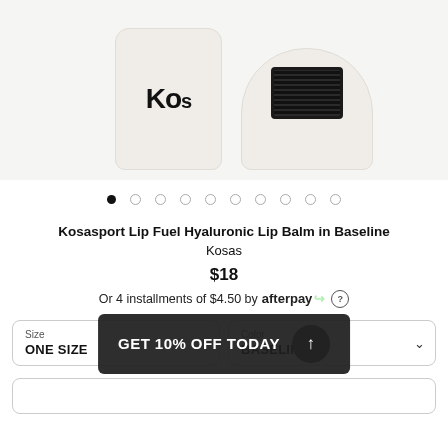[Figure (photo): Product photo of Kosas Kosasport Lip Fuel Hyaluronic Lip Balm in Baseline. Left: white cylindrical tube with 'Kos' text visible. Right: top-down view of the balm showing dark ribbed applicator tip.]
[Figure (other): Image carousel dots: 1 filled (active) and 9 empty circles.]
Kosasport Lip Fuel Hyaluronic Lip Balm in Baseline Kosas
$18
Or 4 installments of $4.50 by afterpay
Size ONE SIZE
Color BASELINE
GET 10% OFF TODAY